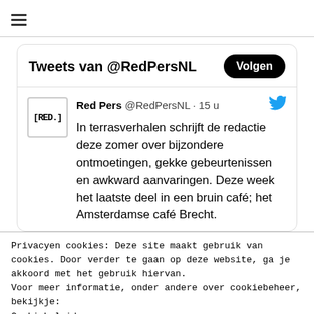≡
Tweets van @RedPersNL
Red Pers @RedPersNL · 15 u
In terrasverhalen schrijft de redactie deze zomer over bijzondere ontmoetingen, gekke gebeurtenissen en awkward aanvaringen. Deze week het laatste deel in een bruin café; het Amsterdamse café Brecht.
Privacyen cookies: Deze site maakt gebruik van cookies. Door verder te gaan op deze website, ga je akkoord met het gebruik hiervan.
Voor meer informatie, onder andere over cookiebeheer, bekijkje:
Cookiebeleid
Sluiten en bevestigen